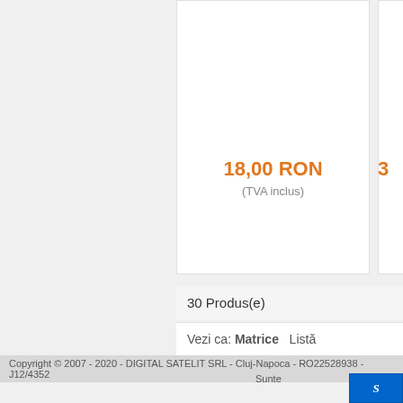18,00 RON
(TVA inclus)
3
30 Produs(e)
Vezi ca: Matrice   Listă
Copyright © 2007 - 2020 - DIGITAL SATELIT SRL - Cluj-Napoca - RO22528938 - J12/4352